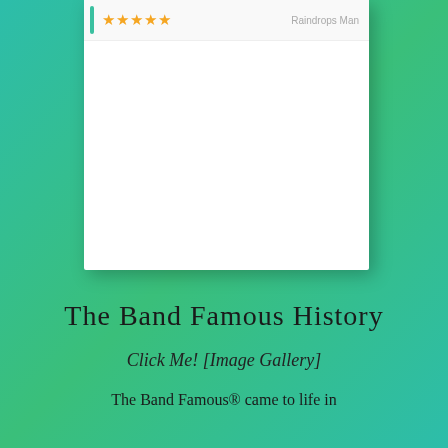[Figure (screenshot): A screenshot of a review card with a left teal accent bar, five orange stars, and the reviewer name 'Raindrops Man' on the right side. The card is white with a drop shadow on a teal gradient background.]
The Band Famous History
Click Me! [Image Gallery]
The Band Famous® came to life in